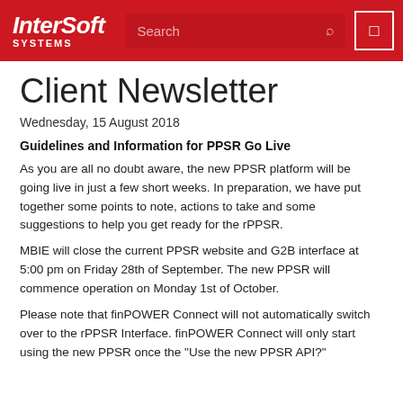InterSoft SYSTEMS
Client Newsletter
Wednesday, 15 August 2018
Guidelines and Information for PPSR Go Live
As you are all no doubt aware, the new PPSR platform will be going live in just a few short weeks. In preparation, we have put together some points to note, actions to take and some suggestions to help you get ready for the rPPSR.
MBIE will close the current PPSR website and G2B interface at 5:00 pm on Friday 28th of September. The new PPSR will commence operation on Monday 1st of October.
Please note that finPOWER Connect will not automatically switch over to the rPPSR Interface. finPOWER Connect will only start using the new PPSR once the "Use the new PPSR API?"